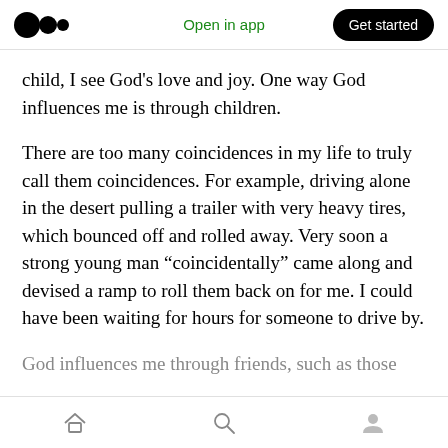Open in app | Get started
child, I see God’s love and joy. One way God influences me is through children.
There are too many coincidences in my life to truly call them coincidences. For example, driving alone in the desert pulling a trailer with very heavy tires, which bounced off and rolled away. Very soon a strong young man “coincidentally” came along and devised a ramp to roll them back on for me. I could have been waiting for hours for someone to drive by.
God influences me through friends, such as those
Home | Search | Profile